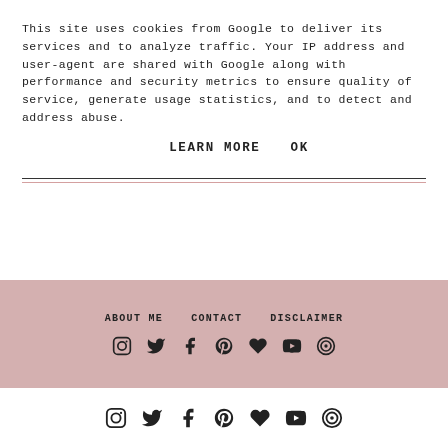This site uses cookies from Google to deliver its services and to analyze traffic. Your IP address and user-agent are shared with Google along with performance and security metrics to ensure quality of service, generate usage statistics, and to detect and address abuse.
LEARN MORE   OK
ABOUT ME   CONTACT   DISCLAIMER
[Figure (infographic): Row of social media icons: Instagram, Twitter, Facebook, Pinterest, heart, YouTube, target/circle icon — shown twice, once in pink footer and once in white footer below]
Social media icons row (bottom white bar)